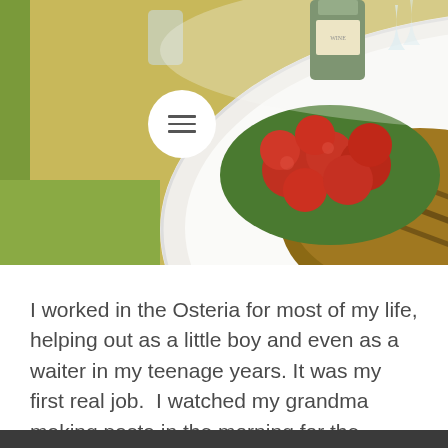[Figure (photo): Overhead photo of bruschetta on a white plate at a restaurant table, with a bottle of wine and glasses visible in the background. A circular menu/hamburger icon overlay is visible in the upper-left of the photo.]
I worked in the Osteria for most of my life, helping out as a little boy and even as a waiter in my teenage years. It was my first real job.  I watched my grandma making pasta in the morning for the restaurant, my mom and my aunt cooking her dishes at the restaurant and my dad choosing